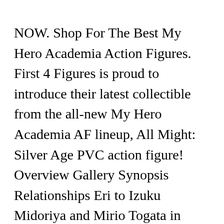NOW. Shop For The Best My Hero Academia Action Figures. First 4 Figures is proud to introduce their latest collectible from the all-new My Hero Academia AF lineup, All Might: Silver Age PVC action figure! Overview Gallery Synopsis Relationships Eri to Izuku Midoriya and Mirio Togata in "With Eri" Eri (å£  (ã  ) ç (ã  ) , Eri?) Stain--In Stores Now. Shop Target for my hero academia Action Figures you will love at great low prices. Selling Japanese anime action figures, figures model building, includes One piece, Dragon Ball, Naruto, Gundam, Saint Seiya, Skip to content. Learn More. Guaranteed delivery for Christmas: Order by 11:59pm Sunday 20th December* Excludes large bulky